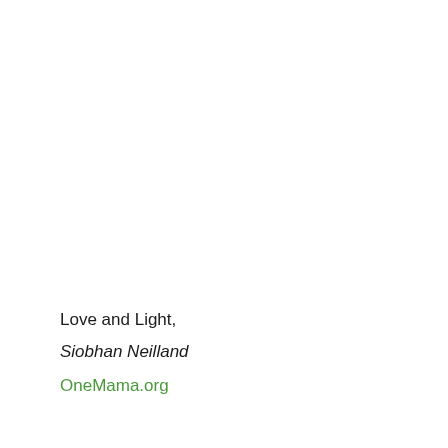Love and Light,
Siobhan Neilland
OneMama.org